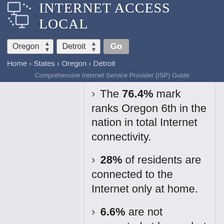Internet Access Local
Oregon | Detroit | Go
Home › States › Oregon › Detroit
Comprehensive Internet Service Provider (ISP) Guide
The 76.4% mark ranks Oregon 6th in the nation in total Internet connectivity.
28% of residents are connected to the Internet only at home.
6.6% are not connected at home, but are connected elsewhere